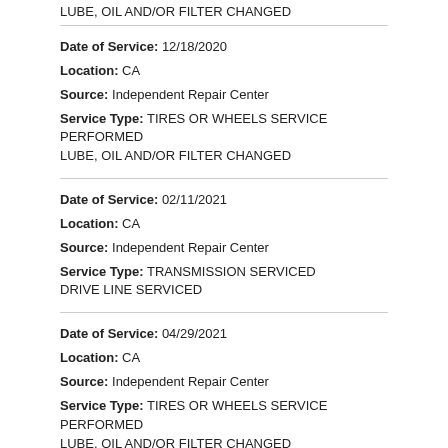LUBE, OIL AND/OR FILTER CHANGED
Date of Service: 12/18/2020
Location: CA
Source: Independent Repair Center
Service Type: TIRES OR WHEELS SERVICE PERFORMED
LUBE, OIL AND/OR FILTER CHANGED
Date of Service: 02/11/2021
Location: CA
Source: Independent Repair Center
Service Type: TRANSMISSION SERVICED
DRIVE LINE SERVICED
Date of Service: 04/29/2021
Location: CA
Source: Independent Repair Center
Service Type: TIRES OR WHEELS SERVICE PERFORMED
LUBE, OIL AND/OR FILTER CHANGED
Date of Service: 08/09/2021
Location: CA